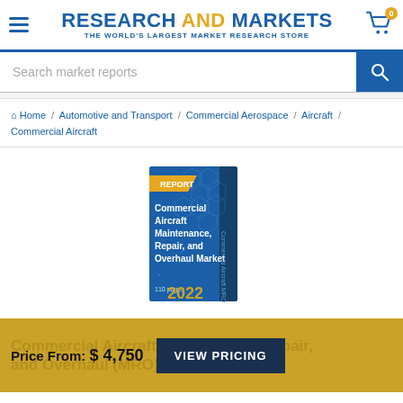RESEARCH AND MARKETS - THE WORLD'S LARGEST MARKET RESEARCH STORE
Search market reports
Home / Automotive and Transport / Commercial Aerospace / Aircraft / Commercial Aircraft
[Figure (illustration): Book cover for 'Commercial Aircraft Maintenance, Repair, and Overhaul Market' report, 2022, 110 pages, with a yellow 'REPORT' badge on a blue geometric cover.]
Price From: $ 4,750   VIEW PRICING